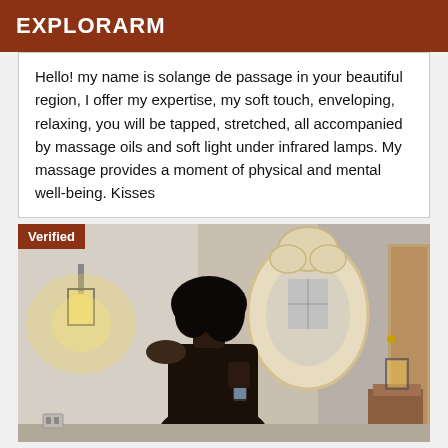EXPLORARM
Hello! my name is solange de passage in your beautiful region, I offer my expertise, my soft touch, enveloping, relaxing, you will be tapped, stretched, all accompanied by massage oils and soft light under infrared lamps. My massage provides a moment of physical and mental well-being. Kisses
[Figure (photo): A woman with dark hair standing in a room with a decorative wall mirror and a wall-mounted lantern lamp, photographed from behind/side. She is wearing a dark off-shoulder outfit and holding a phone. The room has warm lighting.]